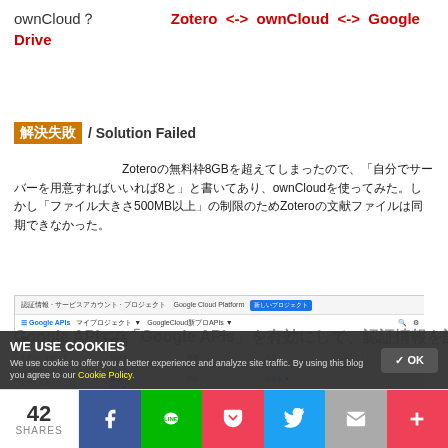ownCloud？ 　　　　　 Zotero <-> ownCloud <-> Google Drive
解決失敗 / Solution Failed
Zotero無料枠8GB　　　　　　　　　　　　　　　　　8　　　　　　　　　　　　　　　　　　　　　　500　　　　Zotero
[Figure (screenshot): Google APIs console screenshot showing API credentials/quota table with Google Drive API entries highlighted in a red box]
Google APIs　　　　Google APIs　　　　　　　　　　　　API
WE USE COOKIES
We use cookie to offer you a better experience and analyze site traffic. By using this blog you agree to our Cookie Policy.
42 SHARES  [Facebook] [LINE] [Pocket] [Twitter] [Mail] [More]